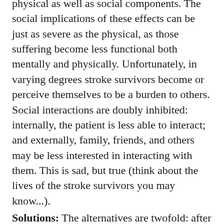physical as well as social components. The social implications of these effects can be just as severe as the physical, as those suffering become less functional both mentally and physically. Unfortunately, in varying degrees stroke survivors become or perceive themselves to be a burden to others. Social interactions are doubly inhibited: internally, the patient is less able to interact; and externally, family, friends, and others may be less interested in interacting with them. This is sad, but true (think about the lives of the stroke survivors you may know...).
Solutions: The alternatives are twofold: after the fact, education is essential by a loved one's support group and community, otherwise a stroke becomes a different type of life sentence. Physical and occupational therapy save lives and the quality of lives. Continuing to value and show value to your loved ones can make all the difference in the world. Before the facts are in with...